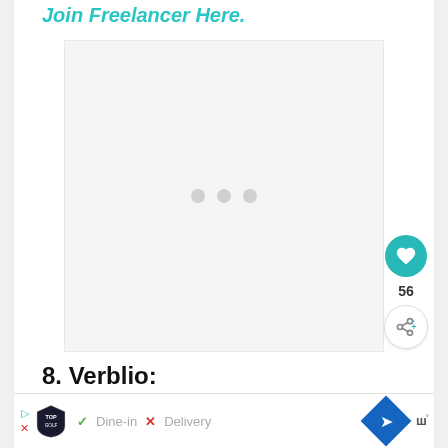Join Freelancer Here.
[Figure (other): Large placeholder image area with three grey loading dots in the center]
8. Verblio:
[Figure (other): Advertisement banner with Topgolf logo, Dine-in checkmark, Delivery X mark, blue navigation diamond icon, and Waze-style icon]